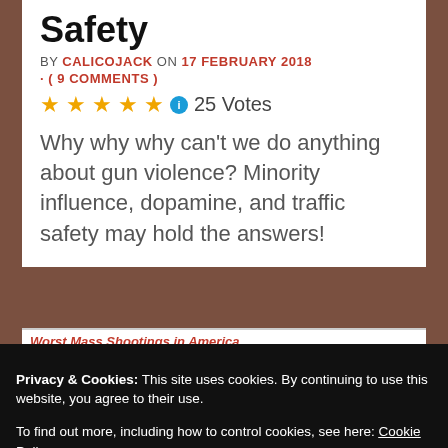Safety
BY CALICOJACK ON 17 FEBRUARY 2018 · ( 9 COMMENTS )
[Figure (other): Five gold stars rating with a blue info icon and '25 Votes' text]
Why why why can't we do anything about gun violence? Minority influence, dopamine, and traffic safety may hold the answers!
Worst Mass Shootings in America
Privacy & Cookies: This site uses cookies. By continuing to use this website, you agree to their use.
To find out more, including how to control cookies, see here: Cookie Policy
Close and accept
San Ysidro McDonald's massacre 1984 CA 22 19